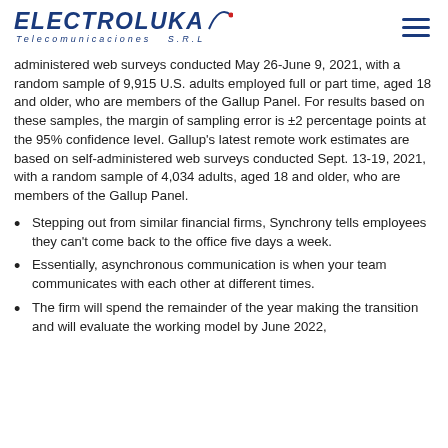ELECTROLUKA Telecomunicaciones S.R.L
administered web surveys conducted May 26-June 9, 2021, with a random sample of 9,915 U.S. adults employed full or part time, aged 18 and older, who are members of the Gallup Panel. For results based on these samples, the margin of sampling error is ±2 percentage points at the 95% confidence level. Gallup's latest remote work estimates are based on self-administered web surveys conducted Sept. 13-19, 2021, with a random sample of 4,034 adults, aged 18 and older, who are members of the Gallup Panel.
Stepping out from similar financial firms, Synchrony tells employees they can't come back to the office five days a week.
Essentially, asynchronous communication is when your team communicates with each other at different times.
The firm will spend the remainder of the year making the transition and will evaluate the working model by June 2022,